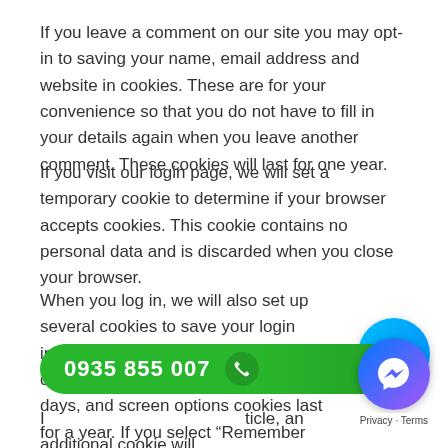If you leave a comment on our site you may opt-in to saving your name, email address and website in cookies. These are for your convenience so that you do not have to fill in your details again when you leave another comment. These cookies will last for one year.
If you visit our login page, we will set a temporary cookie to determine if your browser accepts cookies. This cookie contains no personal data and is discarded when you close your browser.
When you log in, we will also set up several cookies to save your login information and your screen display choices. Login cookies last for two days, and screen options cookies last for a year. If you select “Remember Me”, your login will persist for two weeks. If you log out of your account, the login cookies will be removed.
[Figure (other): Zalo contact button (circular teal/blue badge with 'Zalo' text)]
[Figure (other): Green pill-shaped phone button with number 0935 855 007 and phone icon]
[Figure (other): Facebook Messenger contact button (circular gradient badge with lightning bolt icon)]
If you leave a comment on our site you may opt-in to ... ticle, an additional cookie will ...